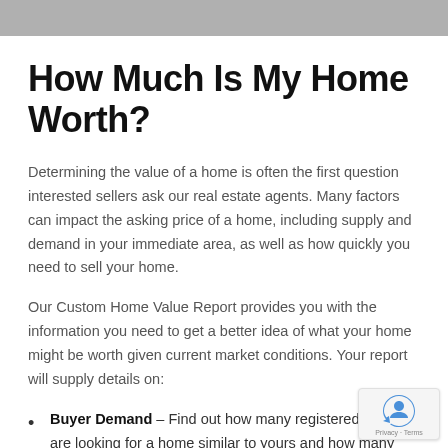How Much Is My Home Worth?
Determining the value of a home is often the first question interested sellers ask our real estate agents. Many factors can impact the asking price of a home, including supply and demand in your immediate area, as well as how quickly you need to sell your home.
Our Custom Home Value Report provides you with the information you need to get a better idea of what your home might be worth given current market conditions. Your report will supply details on:
Buyer Demand – Find out how many registered buyers are looking for a home similar to yours and how many